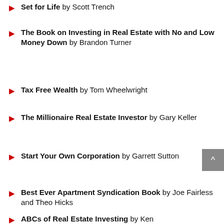Set for Life by Scott Trench
The Book on Investing in Real Estate with No and Low Money Down by Brandon Turner
Tax Free Wealth by Tom Wheelwright
The Millionaire Real Estate Investor by Gary Keller
Start Your Own Corporation by Garrett Sutton
Best Ever Apartment Syndication Book by Joe Fairless and Theo Hicks
ABCs of Real Estate Investing by Ken